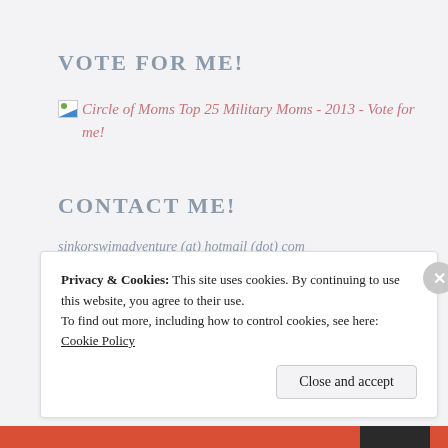VOTE FOR ME!
Circle of Moms Top 25 Military Moms - 2013 - Vote for me!
CONTACT ME!
sinkorswimadventure (at) hotmail (dot) com
Privacy & Cookies: This site uses cookies. By continuing to use this website, you agree to their use.
To find out more, including how to control cookies, see here: Cookie Policy
Close and accept